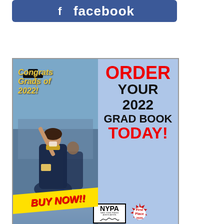[Figure (illustration): Facebook banner in dark blue with Facebook logo and text]
[Figure (infographic): Advertisement for 2022 Grad Book from Times Beacon Record News Media. Left side shows a graduation photo with text 'Congrats Grads of 2022!' and 'BUY NOW!!'. Right side on blue background says 'ORDER YOUR 2022 GRAD BOOK TODAY!' with NYPA logo, First Place 2020 badge, and website tbrnewsmedia.com]